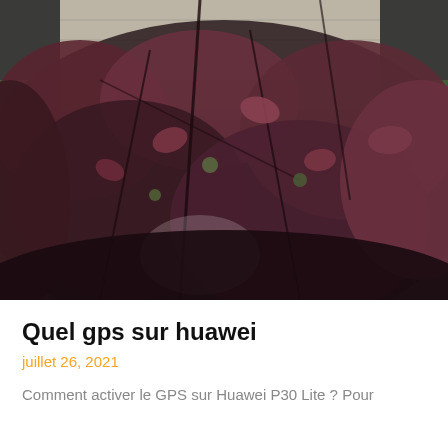[Figure (photo): Outdoor photo showing dark reddish-purple leafy branches and foliage in foreground, with a stone building and greenery visible in the background. Dark, moody autumn scene.]
Quel gps sur huawei
juillet 26, 2021
Comment activer le GPS sur Huawei P30 Lite ? Pour